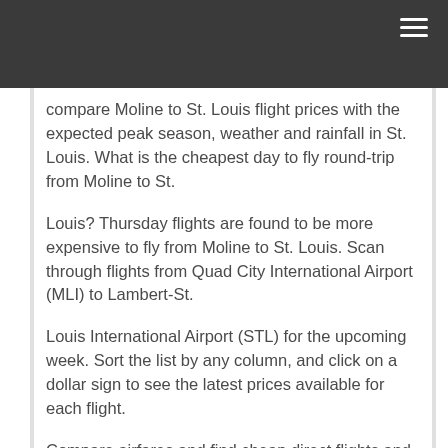≡
compare Moline to St. Louis flight prices with the expected peak season, weather and rainfall in St. Louis. What is the cheapest day to fly round-trip from Moline to St.
Louis? Thursday flights are found to be more expensive to fly from Moline to St. Louis. Scan through flights from Quad City International Airport (MLI) to Lambert-St.
Louis International Airport (STL) for the upcoming week. Sort the list by any column, and click on a dollar sign to see the latest prices available for each flight.
Compare airfares and find cheap direct flights and round trip flights to St. Louis, Lambert-St. Louis International Airport (STL) From Moline (MLI).